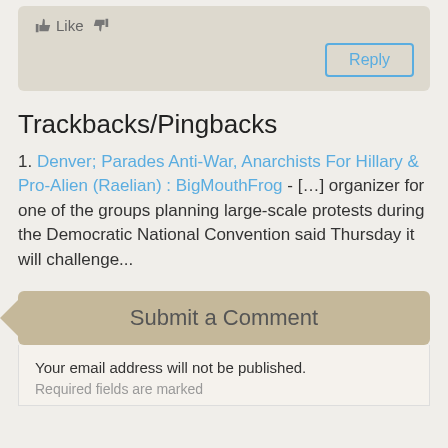Like  [thumbs down]
Reply
Trackbacks/Pingbacks
1. Denver; Parades Anti-War, Anarchists For Hillary & Pro-Alien (Raelian) : BigMouthFrog - […] organizer for one of the groups planning large-scale protests during the Democratic National Convention said Thursday it will challenge...
Submit a Comment
Your email address will not be published. Required fields are marked